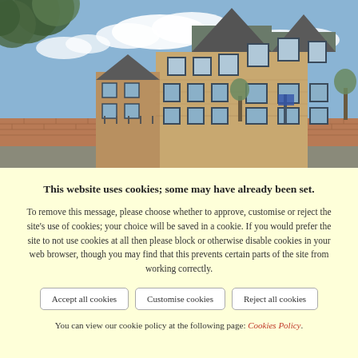[Figure (photo): Photograph of a row of modern brick townhouses/apartments with pointed gabled roofs, grey window frames, and a brick boundary wall in front. Trees visible on the left side, blue sky with clouds in the background.]
This website uses cookies; some may have already been set.
To remove this message, please choose whether to approve, customise or reject the site's use of cookies; your choice will be saved in a cookie. If you would prefer the site to not use cookies at all then please block or otherwise disable cookies in your web browser, though you may find that this prevents certain parts of the site from working correctly.
Accept all cookies | Customise cookies | Reject all cookies
You can view our cookie policy at the following page: Cookies Policy.